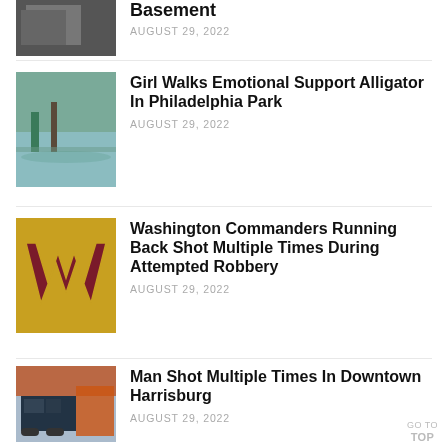Basement
AUGUST 29, 2022
[Figure (photo): Partial thumbnail photo at top of page]
Girl Walks Emotional Support Alligator In Philadelphia Park
AUGUST 29, 2022
[Figure (photo): Children playing near water, one appears to be walking an alligator]
Washington Commanders Running Back Shot Multiple Times During Attempted Robbery
AUGUST 29, 2022
[Figure (photo): Washington Commanders logo — large W in maroon and gold]
Man Shot Multiple Times In Downtown Harrisburg
AUGUST 29, 2022
[Figure (photo): Police car parked near colorful structure in downtown Harrisburg]